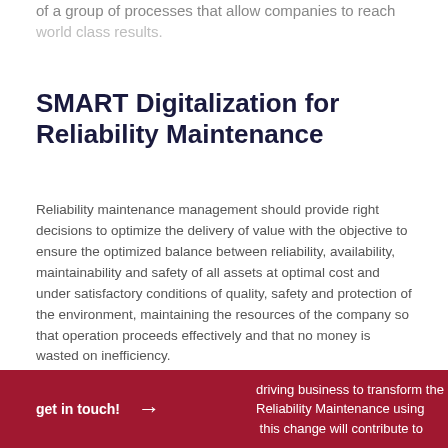of a group of processes that allow companies to reach world class results.
SMART Digitalization for Reliability Maintenance
Reliability maintenance management should provide right decisions to optimize the delivery of value with the objective to ensure the optimized balance between reliability, availability, maintainability and safety of all assets at optimal cost and under satisfactory conditions of quality, safety and protection of the environment, maintaining the resources of the company so that operation proceeds effectively and that no money is wasted on inefficiency.
driving business to transform the Reliability Maintenance using this change will contribute to